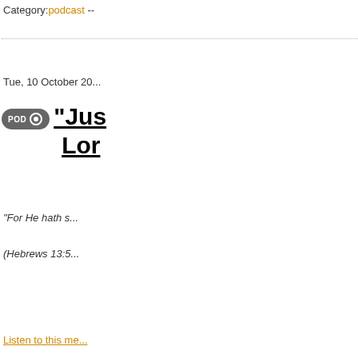Category:podcast --
Tue, 10 October 20...
"Just... Lor...
"For He hath s...
(Hebrews 13:5...
Listen to this me...
Read this messa...
Subscribe to thi...
Visit our websit...
Sign up for the...
here
Click here to gi...